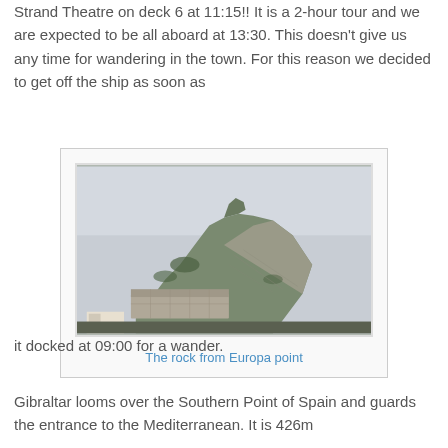Strand Theatre on deck 6 at 11:15!! It is a 2-hour tour and we are expected to be all aboard at 13:30. This doesn't give us any time for wandering in the town. For this reason we decided to get off the ship as soon as
[Figure (photo): A photograph of the Rock of Gibraltar viewed from Europa Point, showing the steep rocky cliff face with fortification walls and vegetation, under an overcast sky.]
The rock from Europa point
it docked at 09:00 for a wander.
Gibraltar looms over the Southern Point of Spain and guards the entrance to the Mediterranean. It is 426m